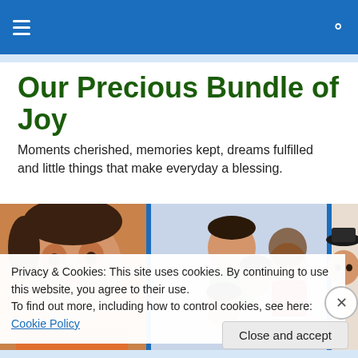Navigation bar with hamburger menu and search icon
Our Precious Bundle of Joy
Moments cherished, memories kept, dreams fulfilled and little things that make everyday a blessing.
[Figure (photo): Three-panel photo strip: left panel shows a smiling baby in orange; center panel shows a Filipino family of four posing together; right panel shows a toddler wearing a black hat]
Privacy & Cookies: This site uses cookies. By continuing to use this website, you agree to their use. To find out more, including how to control cookies, see here: Cookie Policy
Close and accept